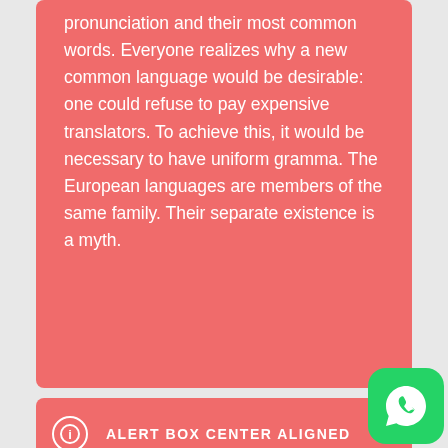pronunciation and their most common words. Everyone realizes why a new common language would be desirable: one could refuse to pay expensive translators. To achieve this, it would be necessary to have uniform gramma. The European languages are members of the same family. Their separate existence is a myth.
[Figure (logo): WhatsApp logo button — green rounded square with white chat bubble phone icon]
ALERT BOX CENTER ALIGNED